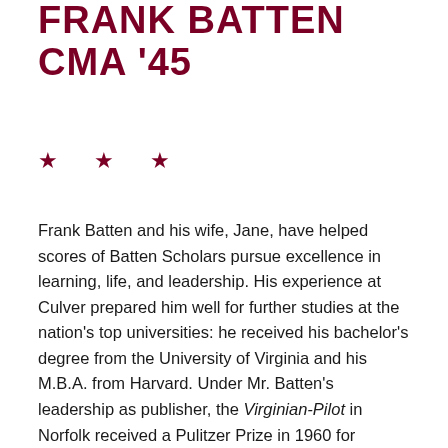FRANK BATTEN CMA '45
★ ★ ★
Frank Batten and his wife, Jane, have helped scores of Batten Scholars pursue excellence in learning, life, and leadership. His experience at Culver prepared him well for further studies at the nation's top universities: he received his bachelor's degree from the University of Virginia and his M.B.A. from Harvard. Under Mr. Batten's leadership as publisher, the Virginian-Pilot in Norfolk received a Pulitzer Prize in 1960 for articles championing desegregation. He also consolidated various media properties into Landmark Communications, founded The Weather Channel, and served as chairman of the Associated Press from 1982 to 1987.